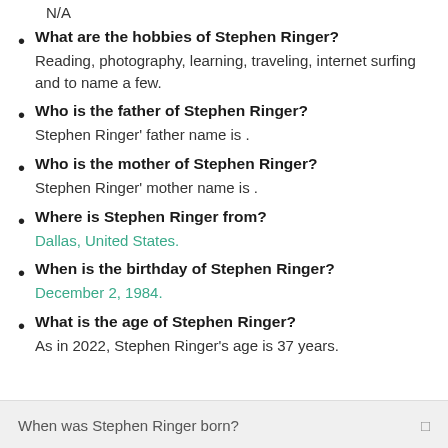N/A
What are the hobbies of Stephen Ringer?
Reading, photography, learning, traveling, internet surfing and to name a few.
Who is the father of Stephen Ringer?
Stephen Ringer' father name is .
Who is the mother of Stephen Ringer?
Stephen Ringer' mother name is .
Where is Stephen Ringer from?
Dallas, United States.
When is the birthday of Stephen Ringer?
December 2, 1984.
What is the age of Stephen Ringer?
As in 2022, Stephen Ringer's age is 37 years.
When was Stephen Ringer born?